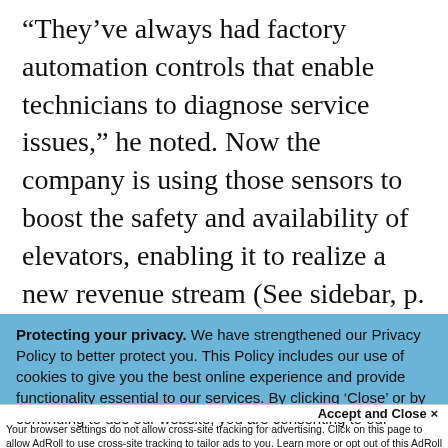“They’ve always had factory automation controls that enable technicians to diagnose service issues,” he noted. Now the company is using those sensors to boost the safety and availability of elevators, enabling it to realize a new revenue stream (See sidebar, p. 52). “This is a good example of building a business
Protecting your privacy. We have strengthened our Privacy Policy to better protect you. This Policy includes our use of cookies to give you the best online experience and provide functionality essential to our services. By clicking ‘Close’ or by continuing to use our website, you are consenting to our
Accept and Close ×
Your browser settings do not allow cross-site tracking for advertising. Click on this page to allow AdRoll to use cross-site tracking to tailor ads to you. Learn more or opt out of this AdRoll tracking by clicking here. This message only appears once.